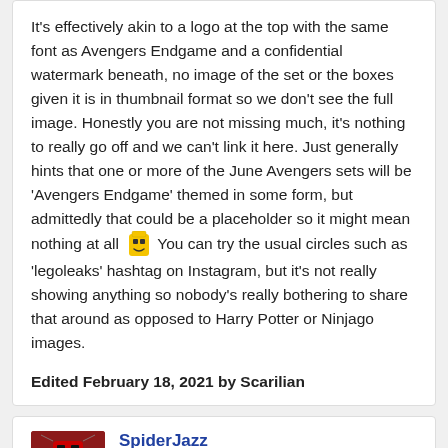It's effectively akin to a logo at the top with the same font as Avengers Endgame and a confidential watermark beneath, no image of the set or the boxes given it is in thumbnail format so we don't see the full image. Honestly you are not missing much, it's nothing to really go off and we can't link it here. Just generally hints that one or more of the June Avengers sets will be 'Avengers Endgame' themed in some form, but admittedly that could be a placeholder so it might mean nothing at all 😄 You can try the usual circles such as 'legoleaks' hashtag on Instagram, but it's not really showing anything so nobody's really bothering to share that around as opposed to Harry Potter or Ninjago images.
Edited February 18, 2021 by Scarilian
SpiderJazz
Posted February 18, 2021
On 2/18/2021 at 1:26 PM, Scarilian said:
It's effectively akin to a logo at the top with the same font...